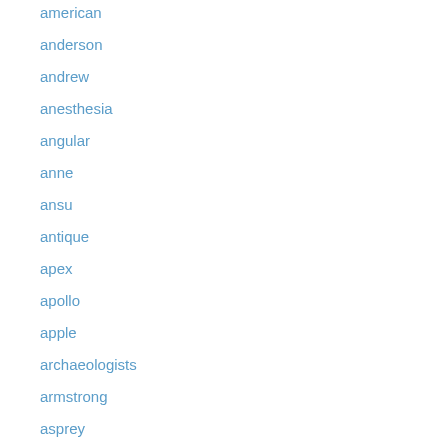american
anderson
andrew
anesthesia
angular
anne
ansu
antique
apex
apollo
apple
archaeologists
armstrong
asprey